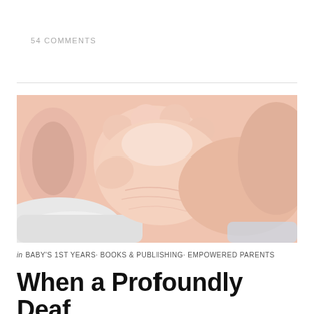54 COMMENTS
[Figure (photo): Close-up photo of a newborn baby's tiny fist/hand gripped around an adult's finger, with the baby's ear visible on the left side. Soft pink skin tones, the baby is wrapped in white cloth.]
in BABY'S 1ST YEARS· BOOKS & PUBLISHING· EMPOWERED PARENTS
When a Profoundly Deaf Baby is Born to Hearing